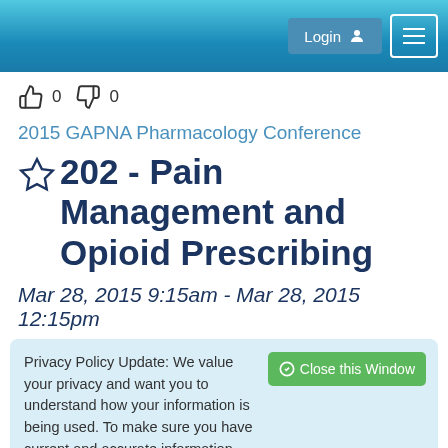Login  ☰
👍 0  👎 0
2015 GAPNA Pharmacology Conference
202 - Pain Management and Opioid Prescribing
Mar 28, 2015 9:15am - Mar 28, 2015 12:15pm
Privacy Policy Update: We value your privacy and want you to understand how your information is being used. To make sure you have current and accurate information about this sites privacy practices please visit the privacy center by clicking here.
Members: $0.00